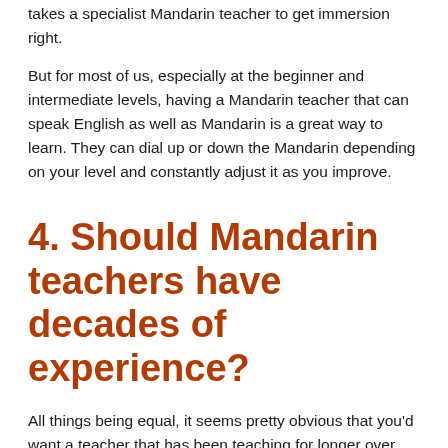takes a specialist Mandarin teacher to get immersion right.
But for most of us, especially at the beginner and intermediate levels, having a Mandarin teacher that can speak English as well as Mandarin is a great way to learn. They can dial up or down the Mandarin depending on your level and constantly adjust it as you improve.
4. Should Mandarin teachers have decades of experience?
All things being equal, it seems pretty obvious that you'd want a teacher that has been teaching for longer over one with less experience.
It makes sense–the longer you do something, the better you get at it. And that may be true, but it's only one dimension of mastering any skill. Aside from quantity, or length of time